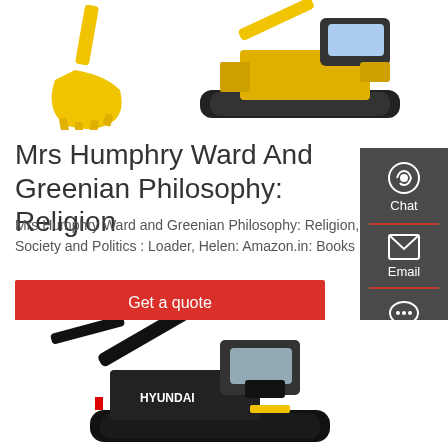[Figure (photo): Yellow excavator bucket arm on white background, partially visible]
[Figure (photo): Yellow tracked excavator (full view) on white background]
Mrs Humphry Ward And Greenian Philosophy: Religion
Mrs Humphry Ward and Greenian Philosophy: Religion, Society and Politics : Loader, Helen: Amazon.in: Books
[Figure (other): Red 'Get a quote' button]
[Figure (other): Dark grey sidebar with Chat (headset icon), Email (envelope icon), and Contact (speech bubble icon) options]
[Figure (photo): Black Hyundai excavator on white background, partially visible at bottom of page]